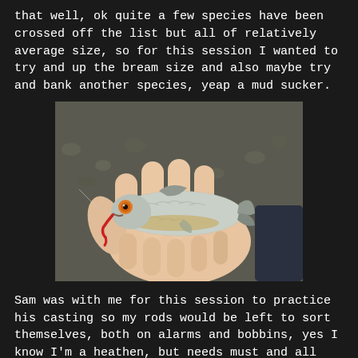that well, ok quite a few species have been crossed off the list but all of relatively average size, so for this session I wanted to try and up the bream size and also maybe try and bank another species, yeap a mud sucker.
[Figure (photo): A small silver fish held in a person's hand. The fish has a bright orange/red eye and a red worm in its mouth, with shiny scales visible. The background shows gravel or pavement.]
Sam was with me for this session to practice his casting so my rods would be left to sort themselves, both on alarms and bobbins, yes I know I'm a heathen, but needs must and all that.